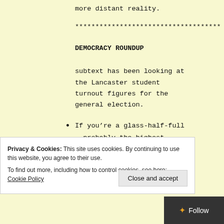more distant reality.
***********************************
DEMOCRACY ROUNDUP
subtext has been looking at the Lancaster student turnout figures for the general election.
If you're a glass-half-full
– probably the highest
Privacy & Cookies: This site uses cookies. By continuing to use this website, you agree to their use.
To find out more, including how to control cookies, see here: Cookie Policy
Close and accept
Follow